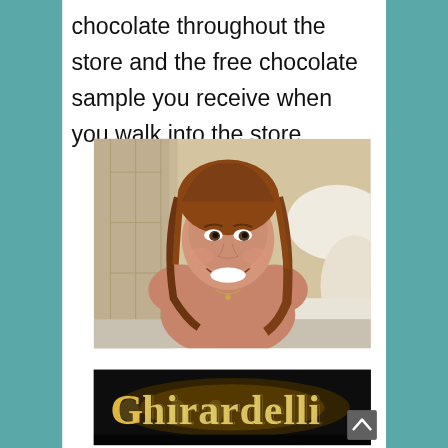chocolate throughout the store and the free chocolate sample you receive when you walk into the store.
[Figure (photo): A smiling woman with long wavy auburn hair taking a selfie in what appears to be a hotel room with white bedding and pillows visible in the background.]
[Figure (photo): A illuminated Ghirardelli sign with glowing letters against a dark background, partially visible at the bottom of the page.]